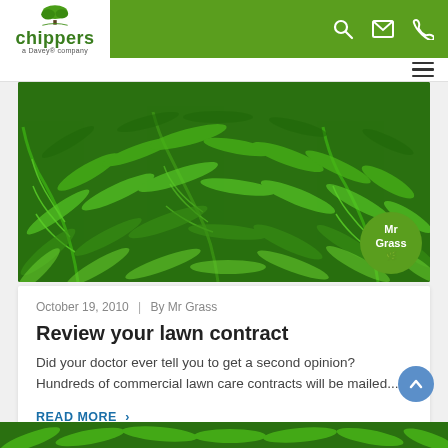chippers — a Davey company
[Figure (photo): Lush green fern leaves filling the frame, dense tropical foliage background with a circular Mr Grass avatar badge in the bottom right corner]
October 19, 2010 | By Mr Grass
Review your lawn contract
Did your doctor ever tell you to get a second opinion? Hundreds of commercial lawn care contracts will be mailed...
READ MORE >